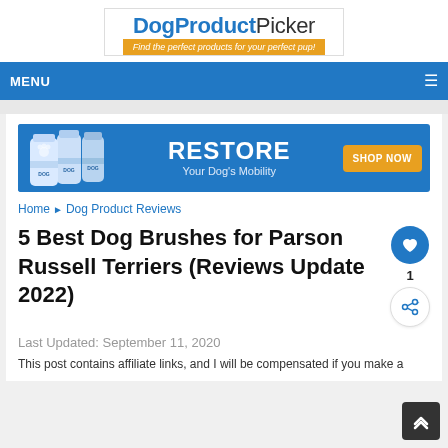[Figure (logo): DogProductPicker logo with tagline 'Find the perfect products for your perfect pup!']
MENU
[Figure (infographic): Advertisement banner: RESTORE Your Dog's Mobility - SHOP NOW, with supplement bottles on the left]
Home ▶ Dog Product Reviews
5 Best Dog Brushes for Parson Russell Terriers (Reviews Update 2022)
Last Updated: September 11, 2020
This post contains affiliate links, and I will be compensated if you make a